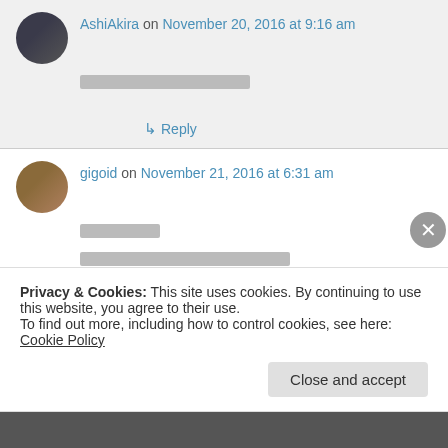AshiAkira on November 20, 2016 at 9:16 am
[redacted text content]
↳ Reply
gigoid on November 21, 2016 at 6:31 am
[redacted text line 1]
[redacted text line 2]
[redacted text line 3]
Privacy & Cookies: This site uses cookies. By continuing to use this website, you agree to their use. To find out more, including how to control cookies, see here: Cookie Policy
Close and accept